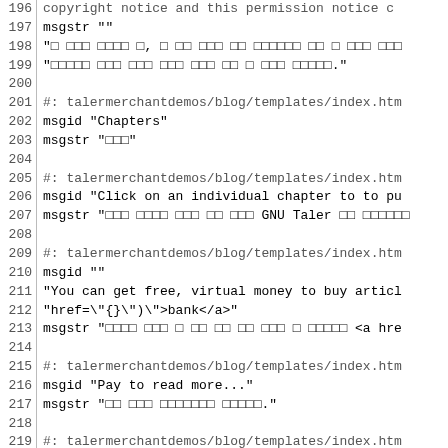Code view of a .po localization file, lines 196-226, showing msgid/msgstr pairs for talermerchantdemos blog and language templates
| line | code |
| --- | --- |
| 196 | copyright notice and this permission notice ... |
| 197 | msgstr "" |
| 198 | "□ □□□ □□□□ □, □ □□ □□□ □□ □□□□□□ □□ □ □□□ □□□ |
| 199 | "□□□□□ □□□ □□□ □□□ □□□ □□ □ □□□ □□□□□." |
| 200 |  |
| 201 | #: talermerchantdemos/blog/templates/index.htm |
| 202 | msgid "Chapters" |
| 203 | msgstr "□□□" |
| 204 |  |
| 205 | #: talermerchantdemos/blog/templates/index.htm |
| 206 | msgid "Click on an individual chapter to to pu |
| 207 | msgstr "□□□ □□□□ □□□ □□ □□□ GNU Taler □□ □□□□□□ |
| 208 |  |
| 209 | #: talermerchantdemos/blog/templates/index.htm |
| 210 | msgid "" |
| 211 | "You can get free, virtual money to buy articl |
| 212 | "href=\"{}\")\">bank</a>" |
| 213 | msgstr "□□□□ □□□ □ □□ □□ □□ □□□ □ □□□□□ <a hre |
| 214 |  |
| 215 | #: talermerchantdemos/blog/templates/index.htm |
| 216 | msgid "Pay to read more..." |
| 217 | msgstr "□□ □□□ □□□□□□□ □□□□□." |
| 218 |  |
| 219 | #: talermerchantdemos/blog/templates/index.htm |
| 220 | msgid "No articles available in this language. |
| 221 | msgstr "□□ □□□ □□□□ □□□□ □□□□." |
| 222 |  |
| 223 | #: talermerchantdemos/blog/templates/language- |
| 224 | #: talermerchantdemos/donations/templates/lang |
| 225 | #: talermerchantdemos/landing/templates/langua |
| 226 | #: talermerchantdemos/survey/templates/languac |